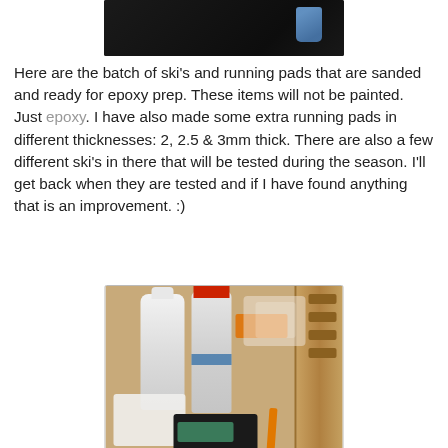[Figure (photo): Partial view of sanded ski parts on dark surface, top of page]
Here are the batch of ski's and running pads that are sanded and ready for epoxy prep. These items will not be painted. Just epoxy. I have also made some extra running pads in different thicknesses: 2, 2.5 & 3mm thick. There are also a few different ski's in there that will be tested during the season. I'll get back when they are tested and if I have found anything that is an improvement. :)
[Figure (photo): Epoxy supplies on a wooden workbench: two bottles (one with white cap, one with red cap), orange box, transparent gloves, digital scale, white cloth/paper, and a small orange brush]
This is the German chemical & water resistant laminating